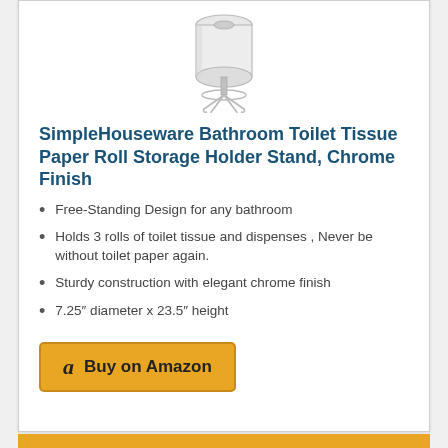[Figure (illustration): Product illustration of a chrome free-standing toilet paper roll holder stand with wire frame legs and a roll of toilet paper on top]
SimpleHouseware Bathroom Toilet Tissue Paper Roll Storage Holder Stand, Chrome Finish
Free-Standing Design for any bathroom
Holds 3 rolls of toilet tissue and dispenses , Never be without toilet paper again.
Sturdy construction with elegant chrome finish
7.25″ diameter x 23.5″ height
Buy on Amazon